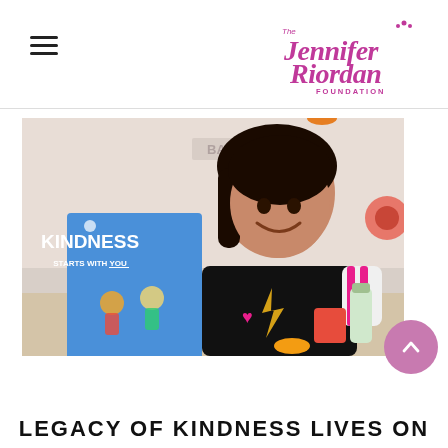[Figure (logo): The Jennifer Riordan Foundation logo in magenta/pink cursive script]
[Figure (photo): A young girl smiling and holding up a blue book titled 'Kindness Starts With You'. On the table in front of her are snacks including a red container, green bottle, and orange slices. Background shows a classroom setting.]
LEGACY OF KINDNESS LIVES ON